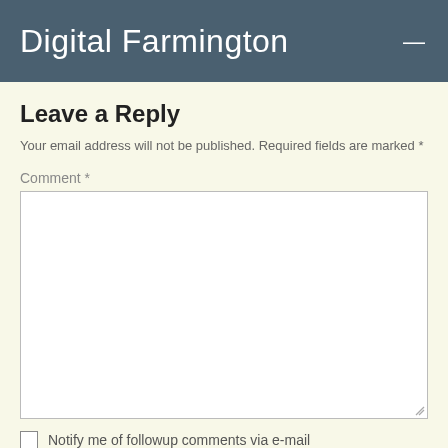Digital Farmington
Leave a Reply
Your email address will not be published. Required fields are marked *
Comment *
[Figure (other): Comment text area input box]
Notify me of followup comments via e-mail
Name *
[Figure (other): Name text input field]